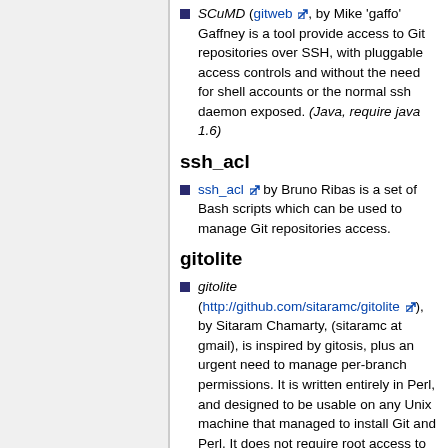SCuMD (gitweb, by Mike 'gaffo' Gaffney is a tool provide access to Git repositories over SSH, with pluggable access controls and without the need for shell accounts or the normal ssh daemon exposed. (Java, require java 1.6)
ssh_acl
ssh_acl by Bruno Ribas is a set of Bash scripts which can be used to manage Git repositories access.
gitolite
gitolite (http://github.com/sitaramc/gitolite), by Sitaram Chamarty, (sitaramc at gmail), is inspired by gitosis, plus an urgent need to manage per-branch permissions. It is written entirely in Perl, and designed to be usable on any Unix machine that managed to install Git and Perl. It does not require root access to install or use.
Other advantages: an "easy install" script + copious documentation to make things as...